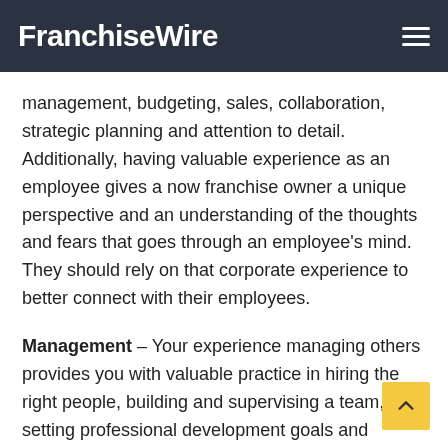FranchiseWire
management, budgeting, sales, collaboration, strategic planning and attention to detail. Additionally, having valuable experience as an employee gives a now franchise owner a unique perspective and an understanding of the thoughts and fears that goes through an employee's mind. They should rely on that corporate experience to better connect with their employees.
Management – Your experience managing others provides you with valuable practice in hiring the right people, building and supervising a team, setting professional development goals and